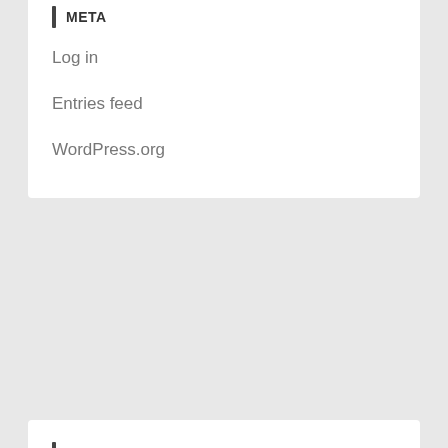META
Log in
Entries feed
WordPress.org
TAGS
3d laser printer 3d printing pen 3d printing software add printer african print brother printer ink canon inkjet printer cardstock printing cat paw print check printing cheetah print vans cow print cow print bikini cow print wallpaper custom fabric printing